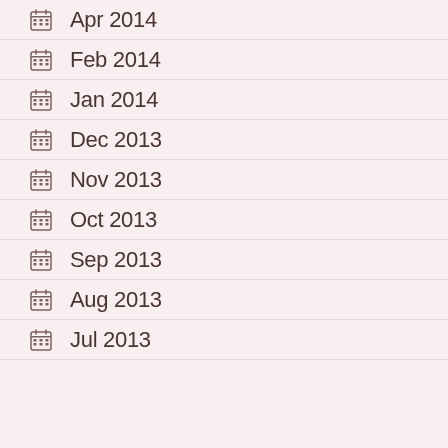Apr 2014
Feb 2014
Jan 2014
Dec 2013
Nov 2013
Oct 2013
Sep 2013
Aug 2013
Jul 2013